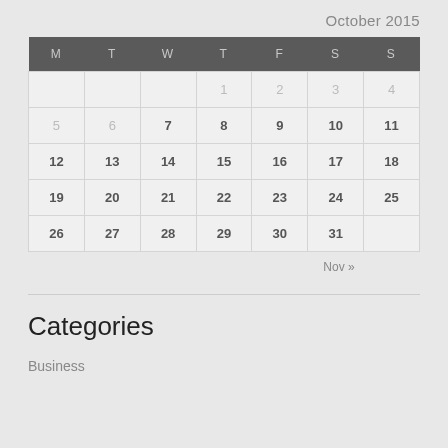October 2015
| M | T | W | T | F | S | S |
| --- | --- | --- | --- | --- | --- | --- |
|  |  |  | 1 | 2 | 3 | 4 |
| 5 | 6 | 7 | 8 | 9 | 10 | 11 |
| 12 | 13 | 14 | 15 | 16 | 17 | 18 |
| 19 | 20 | 21 | 22 | 23 | 24 | 25 |
| 26 | 27 | 28 | 29 | 30 | 31 |  |
Nov »
Categories
Business